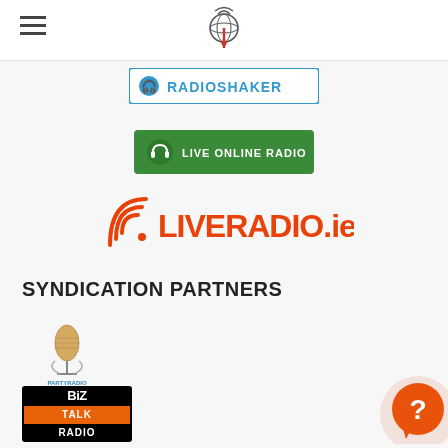[Figure (logo): Podcast/radio website logo - globe with signal waves and red pin]
[Figure (logo): RadioShaker logo - blue banner with headphone icon and RADIOSHAKER text]
[Figure (logo): Live Online Radio - green button with headphone icon]
[Figure (logo): LIVERADIO.ie logo in orange/red with wifi wave icon]
SYNDICATION PARTNERS
[Figure (logo): PartyRadio logo - microphone illustration with text]
[Figure (logo): BizTalkRadio logo - black and orange stacked text logo]
[Figure (illustration): Orange circle help/chat button with question mark]